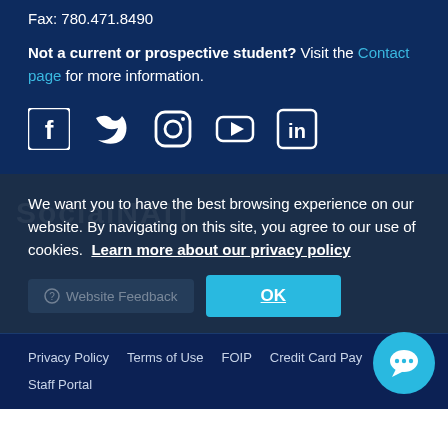Fax: 780.471.8490
Not a current or prospective student? Visit the Contact page for more information.
[Figure (infographic): Social media icons: Facebook, Twitter, Instagram, YouTube, LinkedIn — white on dark blue background]
We want you to have the best browsing experience on our website. By navigating on this site, you agree to our use of cookies. Learn more about our privacy policy
OK button and Website Feedback button in cookie consent banner
Privacy Policy   Terms of Use   FOIP   Credit Card Pay...   Staff Portal